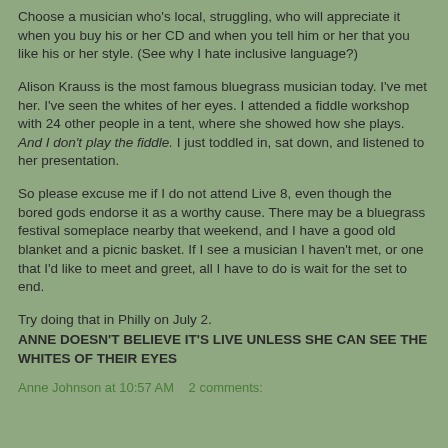Choose a musician who's local, struggling, who will appreciate it when you buy his or her CD and when you tell him or her that you like his or her style. (See why I hate inclusive language?)
Alison Krauss is the most famous bluegrass musician today. I've met her. I've seen the whites of her eyes. I attended a fiddle workshop with 24 other people in a tent, where she showed how she plays. And I don't play the fiddle. I just toddled in, sat down, and listened to her presentation.
So please excuse me if I do not attend Live 8, even though the bored gods endorse it as a worthy cause. There may be a bluegrass festival someplace nearby that weekend, and I have a good old blanket and a picnic basket. If I see a musician I haven't met, or one that I'd like to meet and greet, all I have to do is wait for the set to end.
Try doing that in Philly on July 2.
ANNE DOESN'T BELIEVE IT'S LIVE UNLESS SHE CAN SEE THE WHITES OF THEIR EYES
Anne Johnson at 10:57 AM   2 comments: